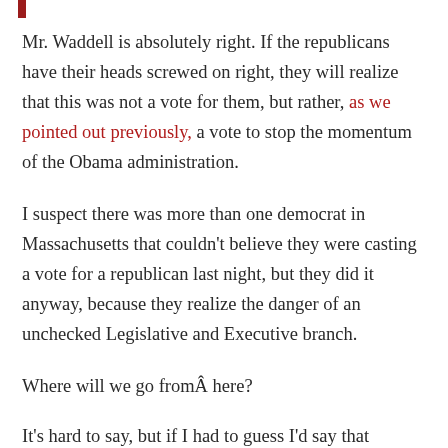Mr. Waddell is absolutely right. If the republicans have their heads screwed on right, they will realize that this was not a vote for them, but rather, as we pointed out previously, a vote to stop the momentum of the Obama administration.
I suspect there was more than one democrat in Massachusetts that couldn't believe they were casting a vote for a republican last night, but they did it anyway, because they realize the danger of an unchecked Legislative and Executive branch.
Where will we go fromÂ here?
It's hard to say, but if I had to guess I'd say that gridlock will ensue and not much will get done,